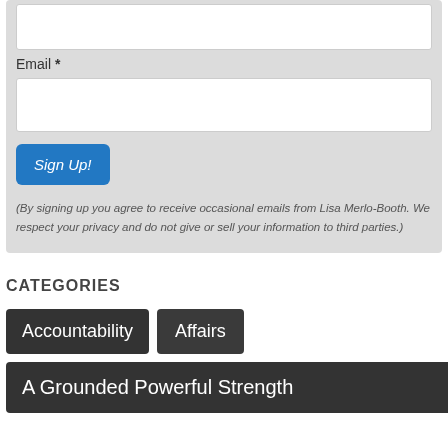[Figure (screenshot): A web form with text input fields for name and email, a Sign Up! button, and privacy notice text]
Email *
(By signing up you agree to receive occasional emails from Lisa Merlo-Booth. We respect your privacy and do not give or sell your information to third parties.)
CATEGORIES
Accountability
Affairs
A Grounded Powerful Strength